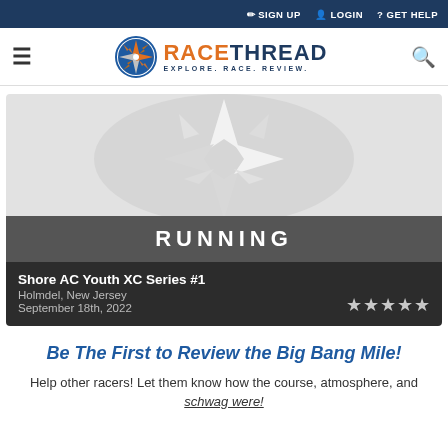✏ SIGN UP  👤 LOGIN  ? GET HELP
[Figure (logo): RaceThread logo with compass rose icon and tagline EXPLORE. RACE. REVIEW.]
[Figure (photo): RaceThread Running category banner with compass rose watermark and RUNNING text on dark banner]
Shore AC Youth XC Series #1
Holmdel, New Jersey
September 18th, 2022
★★★★★
Be The First to Review the Big Bang Mile!
Help other racers! Let them know how the course, atmosphere, and schwag were!